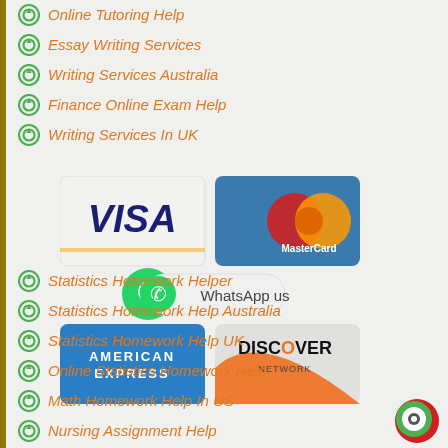Online Tutoring Help
Essay Writing Services
Writing Services Australia
Finance Online Exam Help
Writing Services In UK
[Figure (logo): Payment method logos: VISA, MasterCard, WhatsApp us, American Express, Discover Network]
Statistics Homework Helper
Statistics Homework Help Australia
Statistics Homework Help UK
Online Statistics Homework Help
Math Homework Help In US
Nursing Assignment Help